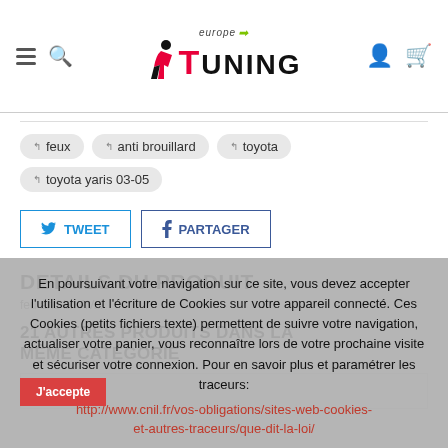[Figure (logo): Europe Tuning logo with stylized figure and text]
feux
anti brouillard
toyota
toyota yaris 03-05
TWEET
PARTAGER
DETAILS DU PRODUIT
feu anti-br. AV...
21 AUTRES PRODUITS DANS LA MÊME CATÉGORIE
En poursuivant votre navigation sur ce site, vous devez accepter l'utilisation et l'écriture de Cookies sur votre appareil connecté. Ces Cookies (petits fichiers texte) permettent de suivre votre navigation, actualiser votre panier, vous reconnaître lors de votre prochaine visite et sécuriser votre connexion. Pour en savoir plus et paramétrer les traceurs: http://www.cnil.fr/vos-obligations/sites-web-cookies-et-autres-traceurs/que-dit-la-loi/
J'accepte